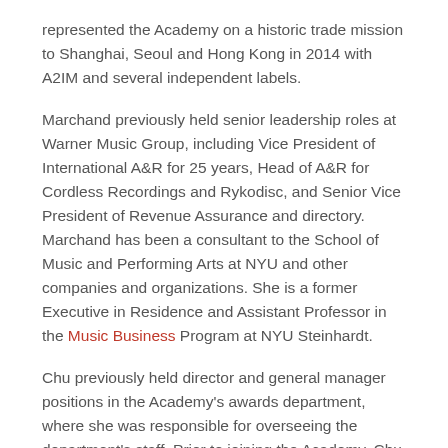represented the Academy on a historic trade mission to Shanghai, Seoul and Hong Kong in 2014 with A2IM and several independent labels.
Marchand previously held senior leadership roles at Warner Music Group, including Vice President of International A&R for 25 years, Head of A&R for Cordless Recordings and Rykodisc, and Senior Vice President of Revenue Assurance and directory. Marchand has been a consultant to the School of Music and Performing Arts at NYU and other companies and organizations. She is a former Executive in Residence and Assistant Professor in the Music Business Program at NYU Steinhardt.
Chu previously held director and general manager positions in the Academy's awards department, where she was responsible for overseeing the department's staff. Prior to joining the Academy, Chu worked in Silicon Valley as one of the few female software engineers in the aerospace industry for 15 years.